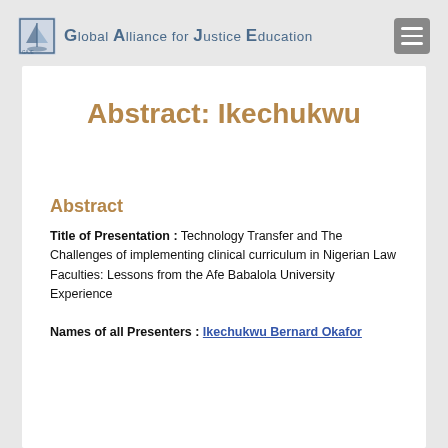Global Alliance for Justice Education
Abstract: Ikechukwu
Abstract
Title of Presentation : Technology Transfer and The Challenges of implementing clinical curriculum in Nigerian Law Faculties: Lessons from the Afe Babalola University Experience
Names of all Presenters : Ikechukwu Bernard Okafor